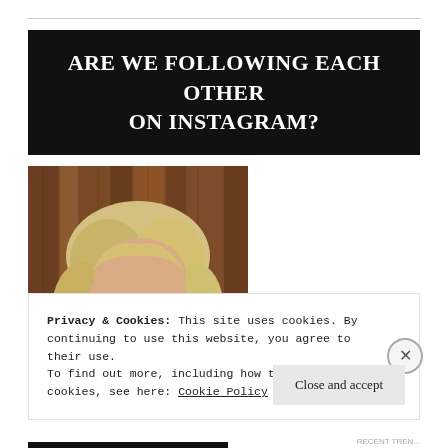ARE WE FOLLOWING EACH OTHER ON INSTAGRAM?
[Figure (photo): Portrait photo of a blonde woman with a short bob haircut, smiling, with a wood-panel background]
Privacy & Cookies: This site uses cookies. By continuing to use this website, you agree to their use.
To find out more, including how to control cookies, see here: Cookie Policy
Close and accept